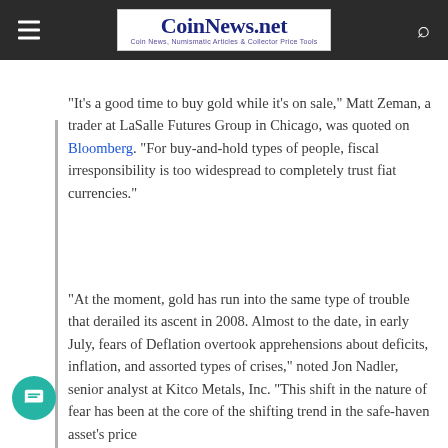CoinNews.net — Coin News, Numismatic Articles & Collector Price Tools
"It's a good time to buy gold while it's on sale," Matt Zeman, a trader at LaSalle Futures Group in Chicago, was quoted on Bloomberg. "For buy-and-hold types of people, fiscal irresponsibility is too widespread to completely trust fiat currencies."
"At the moment, gold has run into the same type of trouble that derailed its ascent in 2008. Almost to the date, in early July, fears of Deflation overtook apprehensions about deficits, inflation, and assorted types of crises," noted Jon Nadler, senior analyst at Kitco Metals, Inc. "This shift in the nature of fear has been at the core of the shifting trend in the safe-haven asset's price